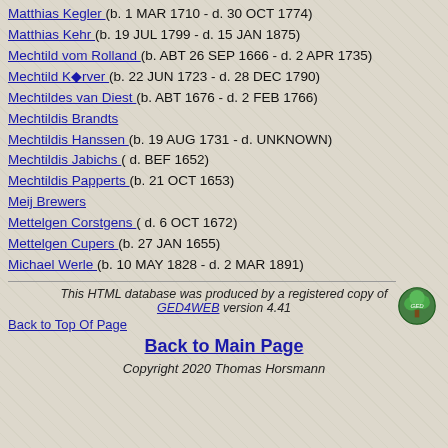Matthias Kegler (b. 1 MAR 1710 - d. 30 OCT 1774)
Matthias Kehr (b. 19 JUL 1799 - d. 15 JAN 1875)
Mechtild vom Rolland (b. ABT 26 SEP 1666 - d. 2 APR 1735)
Mechtild Körver (b. 22 JUN 1723 - d. 28 DEC 1790)
Mechtildes van Diest (b. ABT 1676 - d. 2 FEB 1766)
Mechtildis Brandts
Mechtildis Hanssen (b. 19 AUG 1731 - d. UNKNOWN)
Mechtildis Jabichs ( d. BEF 1652)
Mechtildis Papperts (b. 21 OCT 1653)
Meij Brewers
Mettelgen Corstgens ( d. 6 OCT 1672)
Mettelgen Cupers (b. 27 JAN 1655)
Michael Werle (b. 10 MAY 1828 - d. 2 MAR 1891)
This HTML database was produced by a registered copy of GED4WEB version 4.41
Back to Top Of Page
Back to Main Page
Copyright 2020 Thomas Horsmann